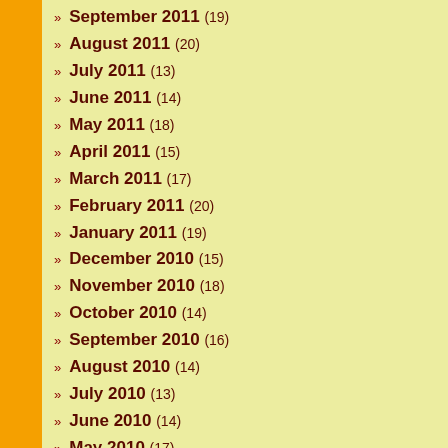September 2011 (19)
August 2011 (20)
July 2011 (13)
June 2011 (14)
May 2011 (18)
April 2011 (15)
March 2011 (17)
February 2011 (20)
January 2011 (19)
December 2010 (15)
November 2010 (18)
October 2010 (14)
September 2010 (16)
August 2010 (14)
July 2010 (13)
June 2010 (14)
May 2010 (17)
April 2010 (16)
March 2010 (...)